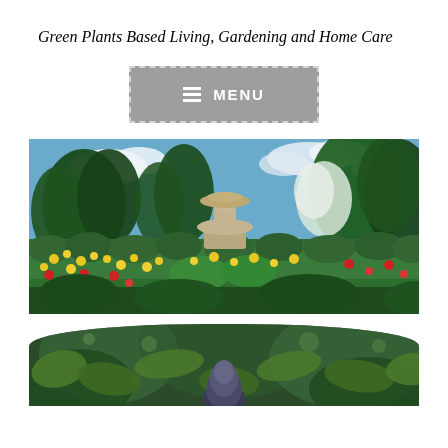Green Plants Based Living, Gardening and Home Care
[Figure (other): Navigation menu button with hamburger icon and MENU text, gray background with dashed border]
[Figure (photo): Garden landscape photo showing a stone cherub fountain surrounded by yellow and red flowers with tall green trees in the background under a blue sky with clouds]
[Figure (photo): Close-up garden photo showing lush green foliage with a blurred background, rounded arch shape at top]